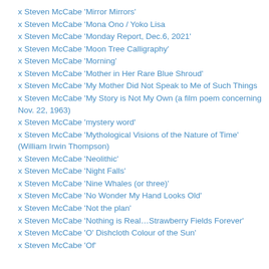x Steven McCabe 'Mirror Mirrors'
x Steven McCabe 'Mona Ono / Yoko Lisa
x Steven McCabe 'Monday Report, Dec.6, 2021'
x Steven McCabe 'Moon Tree Calligraphy'
x Steven McCabe 'Morning'
x Steven McCabe 'Mother in Her Rare Blue Shroud'
x Steven McCabe 'My Mother Did Not Speak to Me of Such Things
x Steven McCabe 'My Story is Not My Own (a film poem concerning Nov. 22, 1963)
x Steven McCabe 'mystery word'
x Steven McCabe 'Mythological Visions of the Nature of Time' (William Irwin Thompson)
x Steven McCabe 'Neolithic'
x Steven McCabe 'Night Falls'
x Steven McCabe 'Nine Whales (or three)'
x Steven McCabe 'No Wonder My Hand Looks Old'
x Steven McCabe 'Not the plan'
x Steven McCabe 'Nothing is Real…Strawberry Fields Forever'
x Steven McCabe 'O' Dishcloth Colour of the Sun'
x Steven McCabe 'Of'